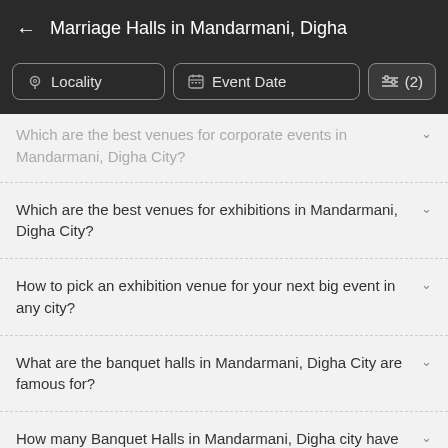Marriage Halls in Mandarmani, Digha
Which are the best venues for corporate events in Mandarmani, Digha City?
Which are the best venues for exhibitions in Mandarmani, Digha City?
How to pick an exhibition venue for your next big event in any city?
What are the banquet halls in Mandarmani, Digha City are famous for?
How many Banquet Halls in Mandarmani, Digha city have valet parking facility?